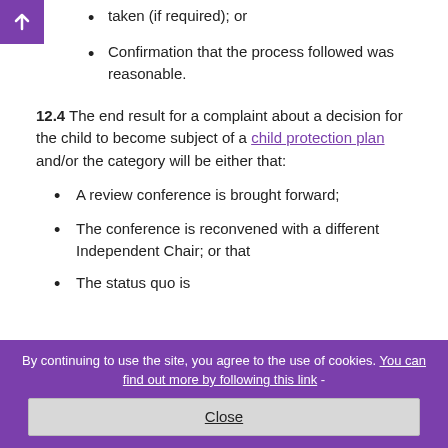taken (if required); or
Confirmation that the process followed was reasonable.
12.4  The end result for a complaint about a decision for the child to become subject of a child protection plan and/or the category will be either that:
A review conference is brought forward;
The conference is reconvened with a different Independent Chair; or that
The status quo is
By continuing to use the site, you agree to the use of cookies. You can find out more by following this link -